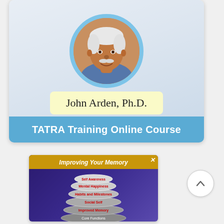[Figure (photo): Circular portrait photo of John Arden Ph.D., an older man with white hair and mustache, smiling, with a light blue circular border around the photo. Below the photo is a light yellow badge with his name. A blue banner at the bottom reads TATRA Training Online Course.]
John Arden, Ph.D.
TATRA Training Online Course
[Figure (screenshot): A screenshot thumbnail showing a purple/blue gradient background with an orange banner at top reading 'Improving Your Memory', an X close button, and a stacked layers infographic in the center with labeled tiers including Mental Happiness, Habits and Milestones, Social Self, Improved Memory, and others.]